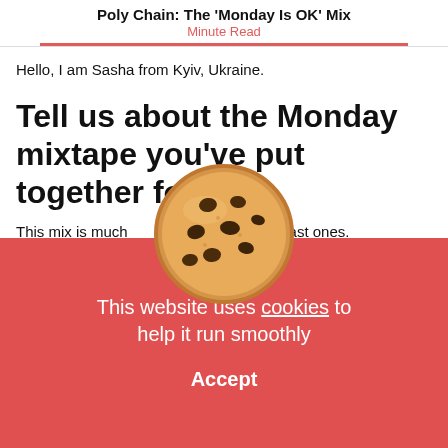Poly Chain: The 'Monday Is OK' Mix
Minute Read
Hello, I am Sasha from Kyiv, Ukraine.
Tell us about the Monday mixtape you've put together for us.
This mix is much [cookie image] n my last ones.
[Figure (illustration): Chocolate chip cookie emoji/illustration overlapping the cookie consent banner]
This website uses cookies to help it run smoothly
Accept